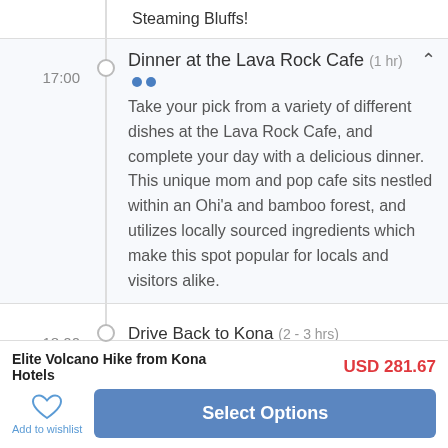Steaming Bluffs!
Dinner at the Lava Rock Cafe (1 hr)
Take your pick from a variety of different dishes at the Lava Rock Cafe, and complete your day with a delicious dinner. This unique mom and pop cafe sits nestled within an Ohi'a and bamboo forest, and utilizes locally sourced ingredients which make this spot popular for locals and visitors alike.
Drive Back to Kona (2 - 3 hrs)
Elite Volcano Hike from Kona Hotels
USD 281.67
Add to wishlist
Select Options